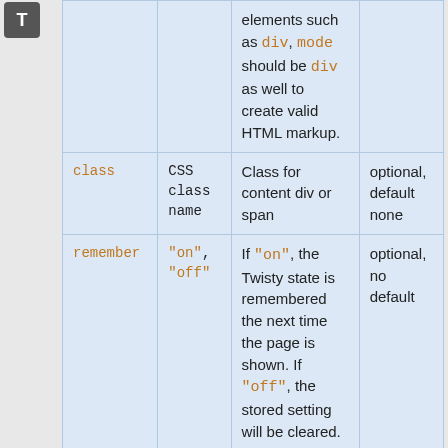| Parameter | Values | Description | Options |
| --- | --- | --- | --- |
|  |  | elements such as div, mode should be div as well to create valid HTML markup. |  |
| class | CSS class name | Class for content div or span | optional, default none |
| remember | "on", "off" | If "on", the Twisty state is remembered the next time the page is shown. If "off", the stored setting will be cleared. Note: when used, think carefully about a unique name (id) for the Twisty, otherwise | optional, no default |